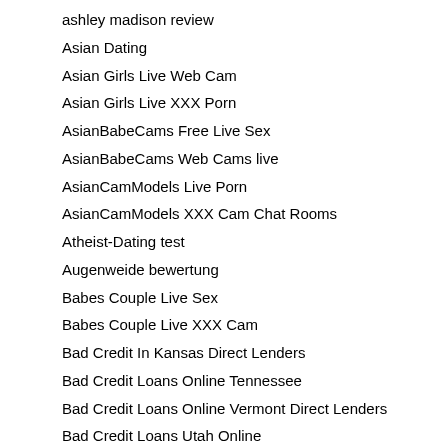ashley madison review
Asian Dating
Asian Girls Live Web Cam
Asian Girls Live XXX Porn
AsianBabeCams Free Live Sex
AsianBabeCams Web Cams live
AsianCamModels Live Porn
AsianCamModels XXX Cam Chat Rooms
Atheist-Dating test
Augenweide bewertung
Babes Couple Live Sex
Babes Couple Live XXX Cam
Bad Credit In Kansas Direct Lenders
Bad Credit Loans Online Tennessee
Bad Credit Loans Online Vermont Direct Lenders
Bad Credit Loans Utah Online
Bad Credit Online Kentucky